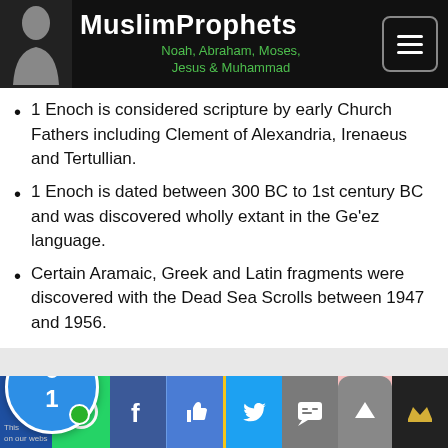MuslimProphets — Noah, Abraham, Moses, Jesus & Muhammad
1 Enoch is considered scripture by early Church Fathers including Clement of Alexandria, Irenaeus and Tertullian.
1 Enoch is dated between 300 BC to 1st century BC and was discovered wholly extant in the Ge'ez language.
Certain Aramaic, Greek and Latin fragments were discovered with the Dead Sea Scrolls between 1947 and 1956.
⚠ Where is the book, Enoch 1?